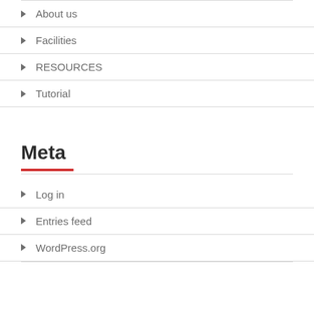About us
Facilities
RESOURCES
Tutorial
Meta
Log in
Entries feed
WordPress.org